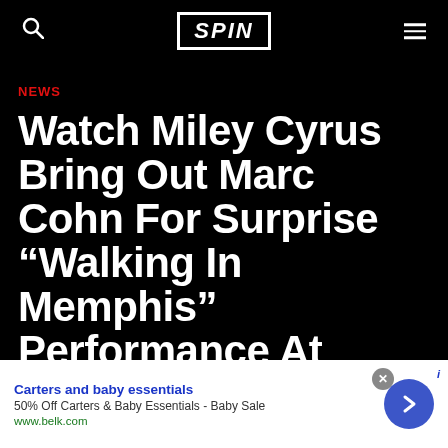SPIN
NEWS
Watch Miley Cyrus Bring Out Marc Cohn For Surprise “Walking In Memphis” Performance At Memphis’ Beale
Carters and baby essentials
50% Off Carters & Baby Essentials - Baby Sale
www.belk.com